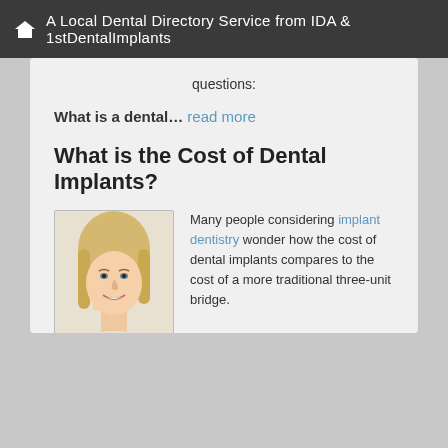A Local Dental Directory Service from IDA & 1stDentalImplants
questions:
What is a dental... read more
What is the Cost of Dental Implants?
[Figure (photo): Portrait photo of a smiling blonde woman resting her chin on her hand]
Many people considering implant dentistry wonder how the cost of dental implants compares to the cost of a more traditional three-unit bridge.
Generally speaking, the cost of a three-unit bridge can range from $2,000 to $3,000, while the cost of a single... read more